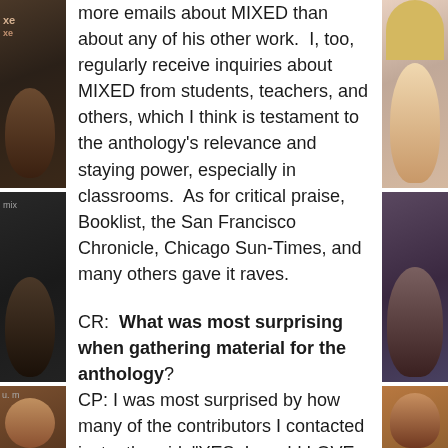[Figure (photo): Left column: three cropped portrait photos of people, partially visible]
[Figure (photo): Right column: three cropped portrait photos of people, partially visible]
more emails about MIXED than about any of his other work.  I, too, regularly receive inquiries about MIXED from students, teachers, and others, which I think is testament to the anthology's relevance and staying power, especially in classrooms.  As for critical praise, Booklist, the San Francisco Chronicle, Chicago Sun-Times, and many others gave it raves.
CR:  What was most surprising when gathering material for the anthology? CP: I was most surprised by how many of the contributors I contacted instantly said, "YES, I would LOVE to contribute!"  I contracted many authors and only a couple turned down the chance to write an original story for this anthology—and